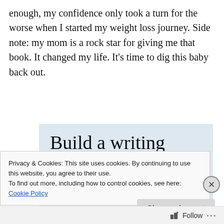enough, my confidence only took a turn for the worse when I started my weight loss journey. Side note: my mom is a rock star for giving me that book. It changed my life. It's time to dig this baby back out.
[Figure (infographic): WordPress app advertisement with text 'Build a writing habit. Post on the go.' and 'GET THE APP' call-to-action with WordPress logo]
Privacy & Cookies: This site uses cookies. By continuing to use this website, you agree to their use.
To find out more, including how to control cookies, see here: Cookie Policy
Close and accept
Follow ...